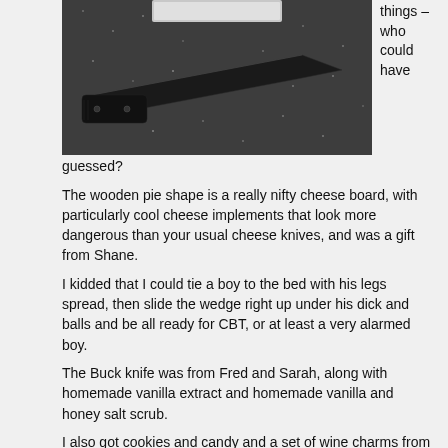[Figure (photo): Photo of a black Buck knife / tactical knife with black handle and black blade, on a dark speckled surface]
things – who could have guessed?
The wooden pie shape is a really nifty cheese board, with particularly cool cheese implements that look more dangerous than your usual cheese knives, and was a gift from Shane.
I kidded that I could tie a boy to the bed with his legs spread, then slide the wedge right up under his dick and balls and be all ready for CBT, or at least a very alarmed boy.
The Buck knife was from Fred and Sarah, along with homemade vanilla extract and homemade vanilla and honey salt scrub.
I also got cookies and candy and a set of wine charms from tonight's gift exchange, but one of the things that was especially cool – and they were ALL cool, I promise, was a set of tile coasters from Caile.
[Figure (photo): Photo of tile coasters, two visible white tile coasters in a dark background box]